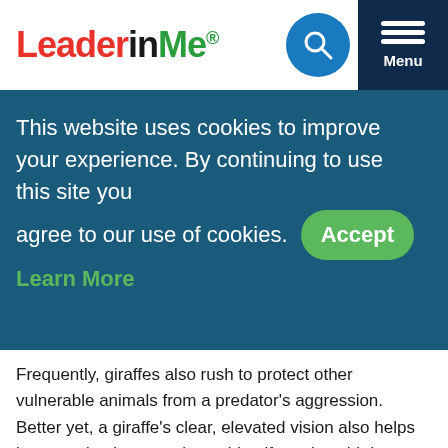LeaderinMe®
This website uses cookies to improve your experience. By continuing to use this site you agree to our use of cookies. Accept Learn More
Frequently, giraffes also rush to protect other vulnerable animals from a predator's aggression. Better yet, a giraffe's clear, elevated vision also helps in protection because it can identify and avoid dangers long before they become disasters.